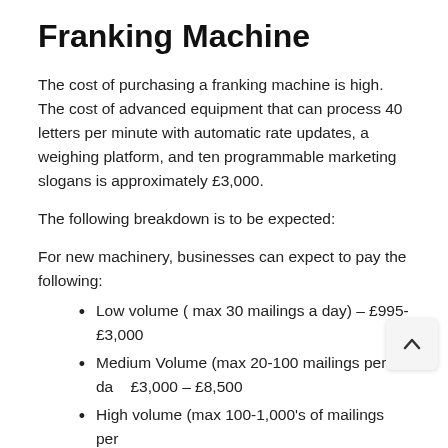Franking Machine
The cost of purchasing a franking machine is high. The cost of advanced equipment that can process 40 letters per minute with automatic rate updates, a weighing platform, and ten programmable marketing slogans is approximately £3,000.
The following breakdown is to be expected:
For new machinery, businesses can expect to pay the following:
Low volume ( max 30 mailings a day) – £995-£3,000
Medium Volume (max 20-100 mailings per day) £3,000 – £8,500
High volume (max 100-1,000's of mailings per